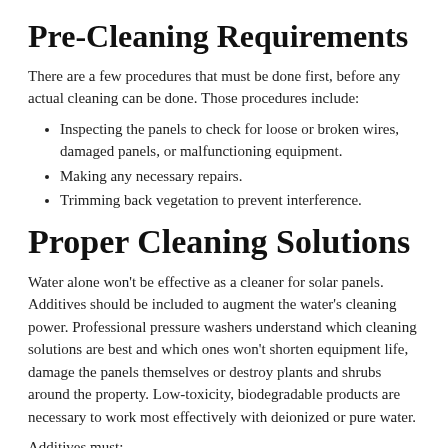Pre-Cleaning Requirements
There are a few procedures that must be done first, before any actual cleaning can be done. Those procedures include:
Inspecting the panels to check for loose or broken wires, damaged panels, or malfunctioning equipment.
Making any necessary repairs.
Trimming back vegetation to prevent interference.
Proper Cleaning Solutions
Water alone won't be effective as a cleaner for solar panels. Additives should be included to augment the water's cleaning power. Professional pressure washers understand which cleaning solutions are best and which ones won't shorten equipment life, damage the panels themselves or destroy plants and shrubs around the property. Low-toxicity, biodegradable products are necessary to work most effectively with deionized or pure water.
Additives must:
Be able to rinse off thoroughly, sans residue and spotting